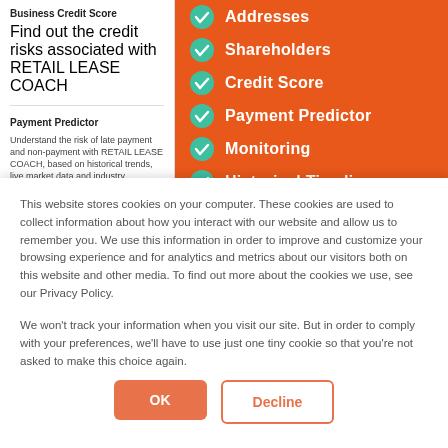Business Credit Score
Find out the credit risks associated with RETAIL LEASE COACH
Payment Predictor
Understand the risk of late payment and non-payment with RETAIL LEASE COACH, based on historical trends, live market data and industry benchmarks.
Addresses
Shareholders
Credit Score
Payment Predictor
Monitoring
Historical Timeline
This website stores cookies on your computer. These cookies are used to collect information about how you interact with our website and allow us to remember you. We use this information in order to improve and customize your browsing experience and for analytics and metrics about our visitors both on this website and other media. To find out more about the cookies we use, see our Privacy Policy.

We won't track your information when you visit our site. But in order to comply with your preferences, we'll have to use just one tiny cookie so that you're not asked to make this choice again.
OK
Decline